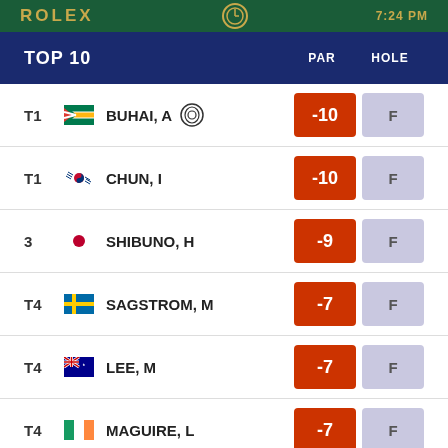ROLEX 7:24 PM
TOP 10  PAR  HOLE
| POS | PLAYER | PAR | HOLE |
| --- | --- | --- | --- |
| T1 | BUHAI, A | -10 | F |
| T1 | CHUN, I | -10 | F |
| 3 | SHIBUNO, H | -9 | F |
| T4 | SAGSTROM, M | -7 | F |
| T4 | LEE, M | -7 | F |
| T4 | MAGUIRE, L | -7 | F |